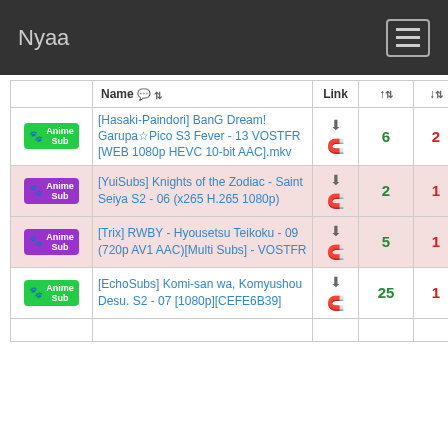Nyaa
|  | Name | Link | ↑ | ↓ |
| --- | --- | --- | --- | --- |
| Anime Sub (green) | [Hasaki-Paindori] BanG Dream! Garupa☆Pico S3 Fever - 13 VOSTFR [WEB 1080p HEVC 10-bit AAC].mkv | ⬇ 🧲 | 6 | 2 |
| Anime Sub (purple) | [YuiSubs] Knights of the Zodiac - Saint Seiya S2 - 06 (x265 H.265 1080p) | ⬇ 🧲 | 2 | 1 |
| Anime Sub (purple) | [Trix] RWBY - Hyousetsu Teikoku - 09 (720p AV1 AAC)[Multi Subs] - VOSTFR | ⬇ 🧲 | 5 | 1 |
| Anime Sub (green) | [EchoSubs] Komi-san wa, Komyushou Desu. S2 - 07 [1080p][CEFE6B39] | ⬇ 🧲 | 25 | 1 |